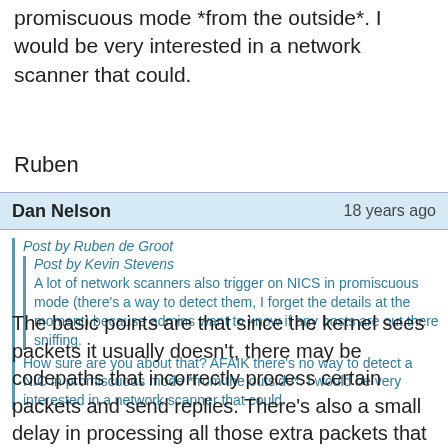promiscuous mode *from the outside*. I would be very interested in a network scanner that could.
Ruben
Dan Nelson   18 years ago
Post by Ruben de Groot
Post by Kevin Stevens
A lot of network scanners also trigger on NICS in promiscuous mode (there's a way to detect them, I forget the details at the moment) because admins want to know if any hosts are out there sniffing.
How sure are you about that? AFAIK there's no way to detect a NIC in promiscuous mode *from the outside*. I would be very interested in a network scanner that could.
The basic points are that since the kernel sees packets it usually doesn't, there may be codepaths that incorrectly process certain packets and send replies. There's also a small delay in processing all those extra packets that might be seen as extra latency